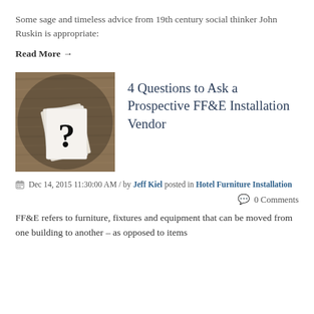Some sage and timeless advice from 19th century social thinker John Ruskin is appropriate:
Read More →
[Figure (photo): Stack of white paper cards with a question mark on top, on a wooden surface]
4 Questions to Ask a Prospective FF&E Installation Vendor
Dec 14, 2015 11:30:00 AM / by Jeff Kiel posted in Hotel Furniture Installation
0 Comments
FF&E refers to furniture, fixtures and equipment that can be moved from one building to another – as opposed to items